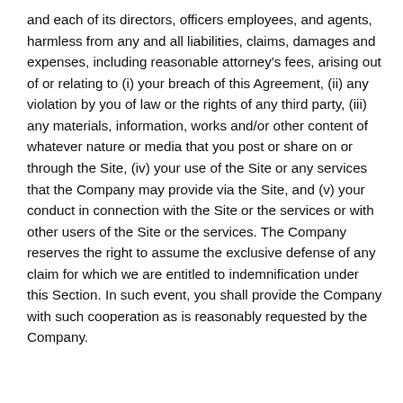and each of its directors, officers employees, and agents, harmless from any and all liabilities, claims, damages and expenses, including reasonable attorney's fees, arising out of or relating to (i) your breach of this Agreement, (ii) any violation by you of law or the rights of any third party, (iii) any materials, information, works and/or other content of whatever nature or media that you post or share on or through the Site, (iv) your use of the Site or any services that the Company may provide via the Site, and (v) your conduct in connection with the Site or the services or with other users of the Site or the services. The Company reserves the right to assume the exclusive defense of any claim for which we are entitled to indemnification under this Section. In such event, you shall provide the Company with such cooperation as is reasonably requested by the Company.